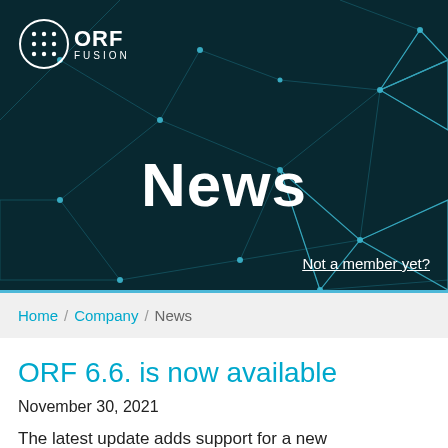[Figure (illustration): ORF Fusion logo: white circle with grid/dot pattern and text 'ORF FUSION', overlaid on a dark teal abstract network/polygon background with connecting lines and nodes]
News
Not a member yet?
Home / Company / News
ORF 6.6. is now available
November 30, 2021
The latest update adds support for a new called ARC (Authenticated Received Chain